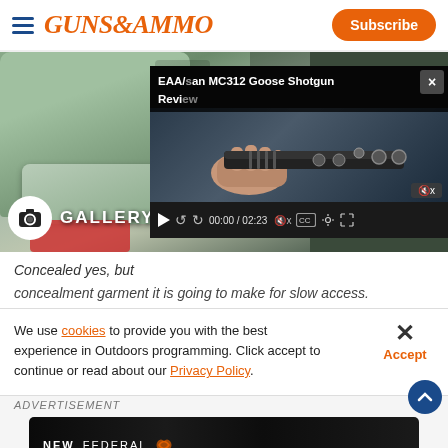GUNS&AMMO — Subscribe
[Figure (screenshot): Vehicle interior with teal/gray seat and armrest, overlaid with a video player showing 'EAA/Akdasan MC312 Goose Shotgun Review' with 00:00 / 02:23 timestamp. A Gallery badge with camera icon is visible on the background image.]
Concealed yes, but concealment garment it is going to make for slow access.
We use cookies to provide you with the best experience in Outdoors programming. Click accept to continue or read about our Privacy Policy.
[Figure (photo): Federal Premium Ammunition advertisement: NEW FEDERAL HIGH OVERALL MORE HITS. with fire and ammunition visual on dark background.]